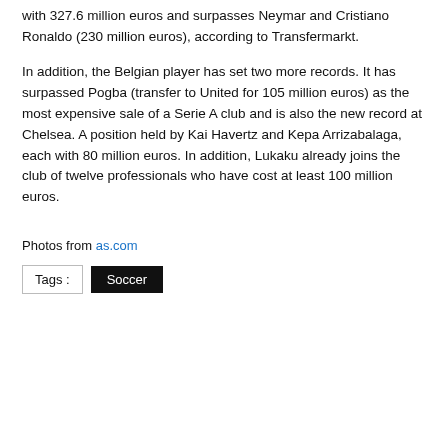with 327.6 million euros and surpasses Neymar and Cristiano Ronaldo (230 million euros), according to Transfermarkt.
In addition, the Belgian player has set two more records. It has surpassed Pogba (transfer to United for 105 million euros) as the most expensive sale of a Serie A club and is also the new record at Chelsea. A position held by Kai Havertz and Kepa Arrizabalaga, each with 80 million euros. In addition, Lukaku already joins the club of twelve professionals who have cost at least 100 million euros.
Photos from as.com
Tags : Soccer